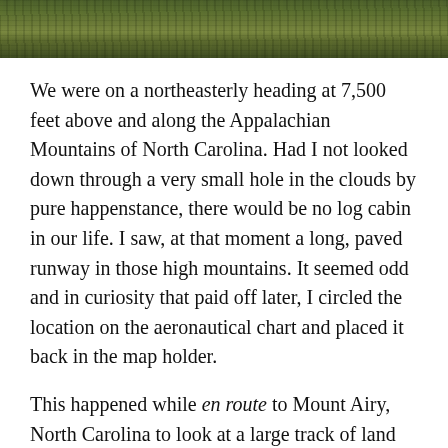[Figure (photo): Aerial or ground-level photograph of green grassy/meadow mountain landscape, shown as a horizontal strip at the top of the page.]
We were on a northeasterly heading at 7,500 feet above and along the Appalachian Mountains of North Carolina. Had I not looked down through a very small hole in the clouds by pure happenstance, there would be no log cabin in our life. I saw, at that moment a long, paved runway in those high mountains. It seemed odd and in curiosity that paid off later, I circled the location on the aeronautical chart and placed it back in the map holder.
This happened while en route to Mount Airy, North Carolina to look at a large track of land owned by the Reynolds Tobacco family. We landed and were met at the airport and toured the property. I found it strange that in the middle of over 2,000 acres was the Reynolds family cemetery, which was to be sold with the land.